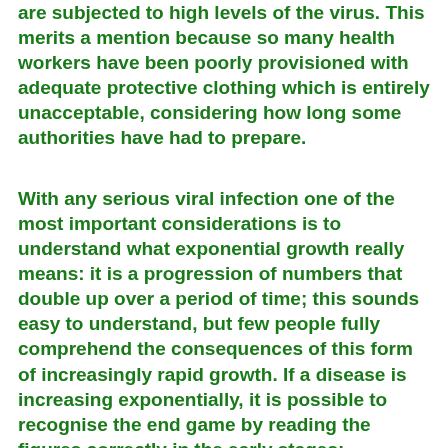are subjected to high levels of the virus. This merits a mention because so many health workers have been poorly provisioned with adequate protective clothing which is entirely unacceptable, considering how long some authorities have had to prepare.
With any serious viral infection one of the most important considerations is to understand what exponential growth really means: it is a progression of numbers that double up over a period of time; this sounds easy to understand, but few people fully comprehend the consequences of this form of increasingly rapid growth. If a disease is increasing exponentially, it is possible to recognise the end game by reading the figures correctly in the early stages: essentially it is a question of identify what you are dealing by